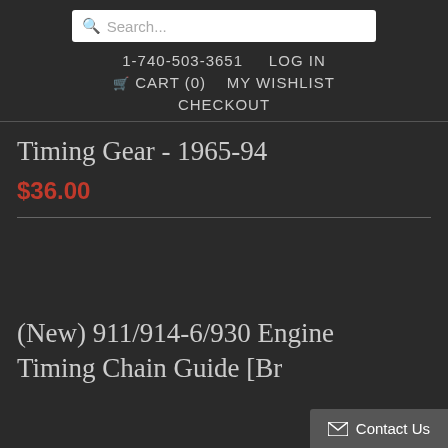Search...
1-740-503-3651   LOG IN
CART (0)   MY WISHLIST
CHECKOUT
Timing Gear - 1965-94
$36.00
(New) 911/914-6/930 Engine Timing Chain Guide [Br...